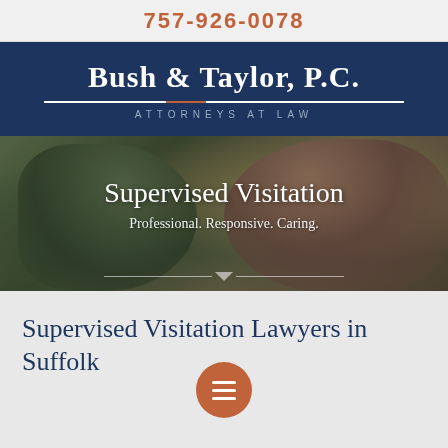757-926-0078
Bush & Taylor, P.C. Attorneys at Law
[Figure (photo): Blurred background photo of two people (a child and adult) embracing outdoors in autumn setting, with overlay text 'Supervised Visitation' and 'Professional. Responsive. Caring.']
Supervised Visitation Lawyers in Suffolk